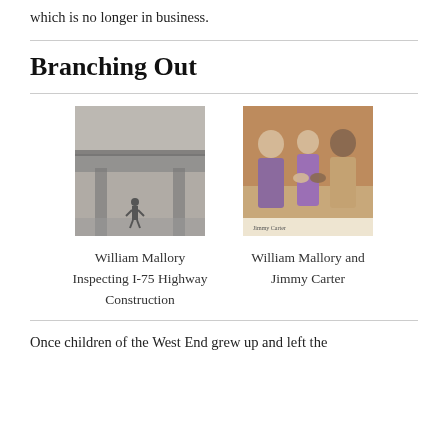which is no longer in business.
Branching Out
[Figure (photo): Black and white photograph of William Mallory inspecting I-75 Highway Construction, a person standing under a large overpass structure]
William Mallory Inspecting I-75 Highway Construction
[Figure (photo): Color photograph of William Mallory and Jimmy Carter, two men and a woman shaking hands, with a signature on the photo]
William Mallory and Jimmy Carter
Once children of the West End grew up and left the